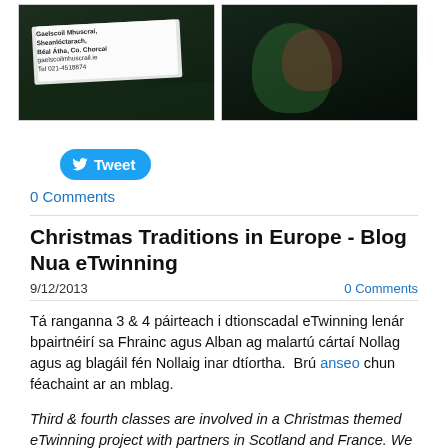[Figure (photo): Two photos side by side: left shows a group with a Gaelscoil Mhuscraí banner, right shows children posing at night]
Tweet
0 Comments
Christmas Traditions in Europe - Blog Nua eTwinning
9/12/2013
0 Comments
Tá ranganna 3 & 4 páirteach i dtionscadal eTwinning lenár bpairtnéirí sa Fhrainc agus Alban ag malartú cártaí Nollag agus ag blagáil fén Nollaig inar dtíortha.  Brú anseo chun féachaint ar an mblag.
Third & fourth classes are involved in a Christmas themed eTwinning project with partners in Scotland and France. We are exchanging Christmas cards and blogging about our